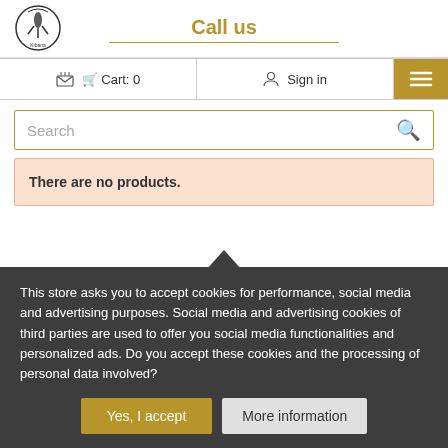[Figure (logo): Small circular logo with a bottle figure and text 'Kibana']
Call us
Cart: 0
Sign in
Search
There are no products.
This store asks you to accept cookies for performance, social media and advertising purposes. Social media and advertising cookies of third parties are used to offer you social media functionalities and personalized ads. Do you accept these cookies and the processing of personal data involved?
Yes, I accept
More information